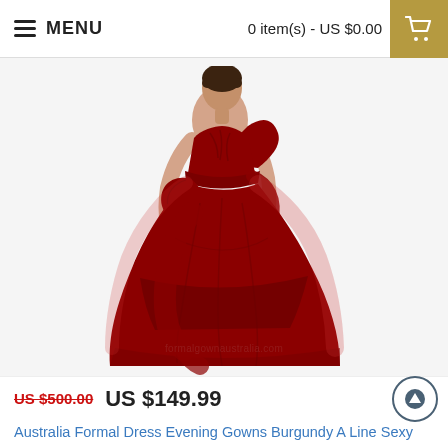MENU   0 item(s) - US $0.00
[Figure (photo): Model wearing a burgundy/dark red one-shoulder A-line formal evening gown with a large bow/drape detail at the waist and layered tulle skirt. Watermark reads 'formalgownaustralia.com']
US $500.00  US $149.99
Australia Formal Dress Evening Gowns Burgundy A Line Sexy